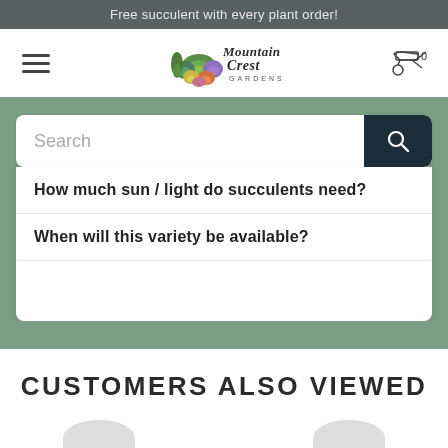Free succulent with every plant order!
[Figure (logo): Mountain Crest Gardens logo with succulent plant illustration and stylized text]
Search
How much sun / light do succulents need?
When will this variety be available?
CUSTOMERS ALSO VIEWED